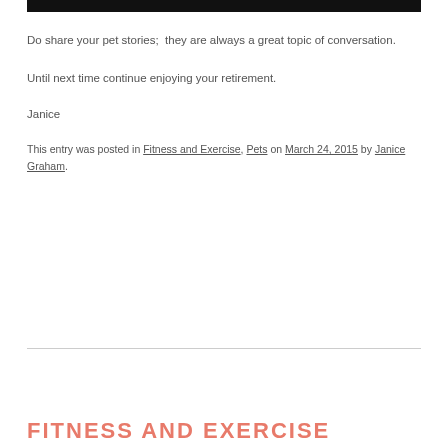[Figure (photo): Black bar at top of page]
Do share your pet stories;  they are always a great topic of conversation.
Until next time continue enjoying your retirement.
Janice
This entry was posted in Fitness and Exercise, Pets on March 24, 2015 by Janice Graham.
FITNESS AND EXERCISE